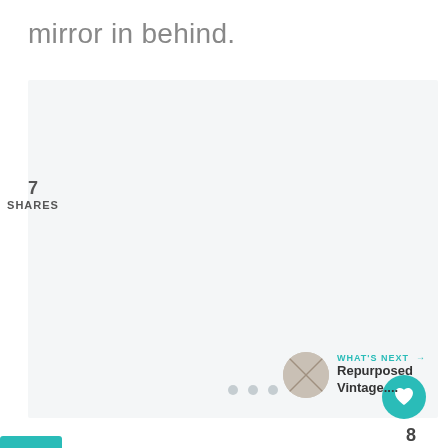mirror in behind.
[Figure (screenshot): Web page UI showing social share buttons (Pinterest with count 7, Facebook), share count of 7, three navigation dots, a heart/like button, count of 8, a share icon, and a 'What's Next' recommendation panel with thumbnail and text 'Repurposed Vintage...'. Large light gray content area in background.]
7
SHARES
7
f
8
WHAT'S NEXT → Repurposed Vintage....